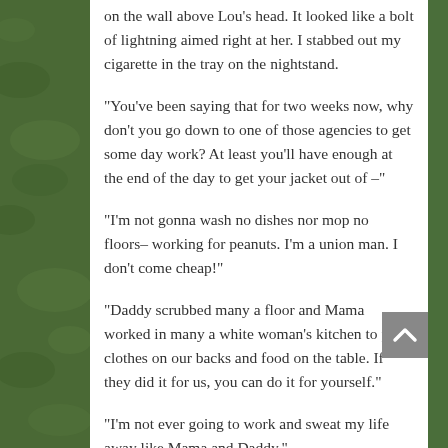on the wall above Lou's head. It looked like a bolt of lightning aimed right at her. I stabbed out my cigarette in the tray on the nightstand.
“You’ve been saying that for two weeks now, why don’t you go down to one of those agencies to get some day work? At least you’ll have enough at the end of the day to get your jacket out of –”
“I’m not gonna wash no dishes nor mop no floors– working for peanuts. I’m a union man. I don’t come cheap!”
“Daddy scrubbed many a floor and Mama worked in many a white woman’s kitchen to put clothes on our backs and food on the table. If they did it for us, you can do it for yourself.”
“I’m not ever going to work and sweat my life away like Mama and Daddy.”